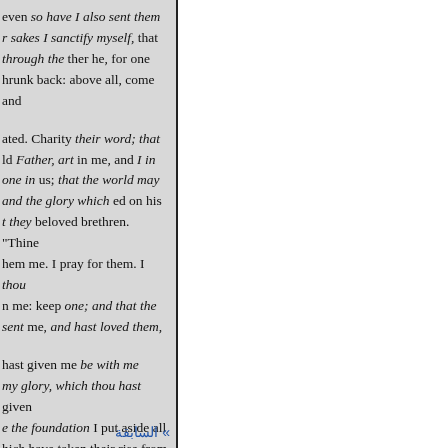even so have I also sent them r sakes I sanctify myself, that through the ther he, for one hrunk back: above all, come and
ated. Charity their word; that ld Father, art in me, and I in one in us; that the world may and the glory which ed on his t they beloved brethren. "Thine hem me. I pray for them. I thou n me: keep one; and that the sent me, and hast loved them,
hast given me be with me my glory, which thou hast given e the foundation I put aside all hich have taken their rise from
» السابقة